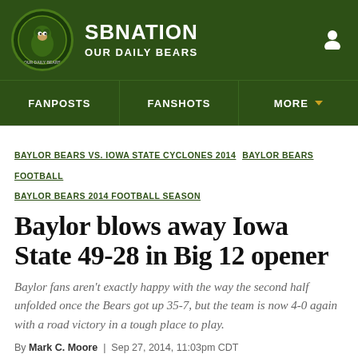SBNATION OUR DAILY BEARS
FANPOSTS  FANSHOTS  MORE
BAYLOR BEARS VS. IOWA STATE CYCLONES 2014  BAYLOR BEARS FOOTBALL  BAYLOR BEARS 2014 FOOTBALL SEASON
Baylor blows away Iowa State 49-28 in Big 12 opener
Baylor fans aren't exactly happy with the way the second half unfolded once the Bears got up 35-7, but the team is now 4-0 again with a road victory in a tough place to play.
By Mark C. Moore  |  Sep 27, 2014, 11:03pm CDT